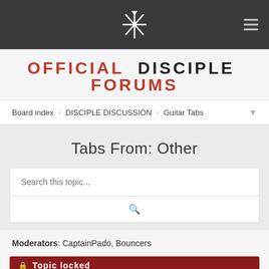[Figure (logo): Disciple band logo — stylized asterisk/snowflake symbol in white on dark grey header bar]
OFFICIAL DISCIPLE FORUMS
Board index › DISCIPLE DISCUSSION › Guitar Tabs
Tabs From: Other
Search this topic...
Moderators: CaptainPado, Bouncers
Topic locked